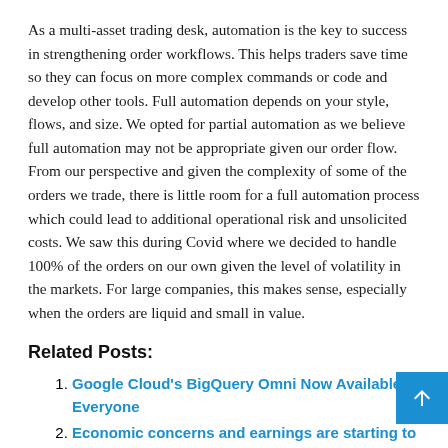As a multi-asset trading desk, automation is the key to success in strengthening order workflows. This helps traders save time so they can focus on more complex commands or code and develop other tools. Full automation depends on your style, flows, and size. We opted for partial automation as we believe full automation may not be appropriate given our order flow. From our perspective and given the complexity of some of the orders we trade, there is little room for a full automation process which could lead to additional operational risk and unsolicited costs. We saw this during Covid where we decided to handle 100% of the orders on our own given the level of volatility in the markets. For large companies, this makes sense, especially when the orders are liquid and small in value.
Related Posts:
Google Cloud's BigQuery Omni Now Available to Everyone
Economic concerns and earnings are starting to we...